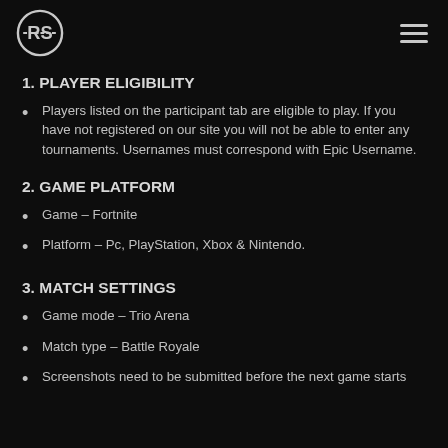RS logo and hamburger menu
1. PLAYER ELIGIBILITY
Players listed on the participant tab are eligible to play. If you have not registered on our site you will not be able to enter any tournaments. Usernames must correspond with Epic Username.
2. GAME PLATFORM
Game – Fortnite
Platform – Pc, PlayStation, Xbox & Nintendo.
3. MATCH SETTINGS
Game mode – Trio Arena
Match type – Battle Royale
Screenshots need to be submitted before the next game starts